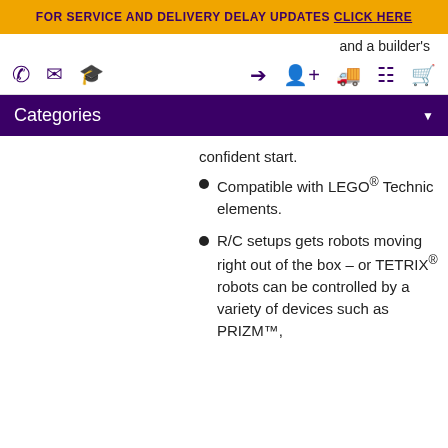FOR SERVICE AND DELIVERY DELAY UPDATES CLICK HERE
and a builder's
Categories
confident start.
Compatible with LEGO® Technic elements.
R/C setups gets robots moving right out of the box – or TETRIX® robots can be controlled by a variety of devices such as PRIZM™,